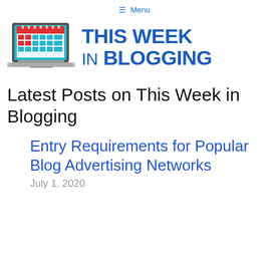≡ Menu
[Figure (logo): This Week in Blogging logo: laptop with calendar icon on screen and bold blue text 'THIS WEEK IN BLOGGING']
Latest Posts on This Week in Blogging
Entry Requirements for Popular Blog Advertising Networks
July 1, 2020